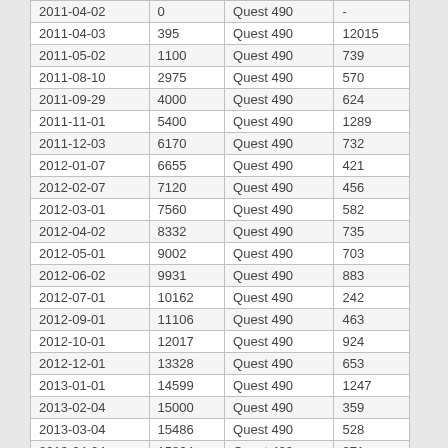| 2011-04-02 | 0 | Quest 490 | - |
| 2011-04-03 | 395 | Quest 490 | 12015 |
| 2011-05-02 | 1100 | Quest 490 | 739 |
| 2011-08-10 | 2975 | Quest 490 | 570 |
| 2011-09-29 | 4000 | Quest 490 | 624 |
| 2011-11-01 | 5400 | Quest 490 | 1289 |
| 2011-12-03 | 6170 | Quest 490 | 732 |
| 2012-01-07 | 6655 | Quest 490 | 421 |
| 2012-02-07 | 7120 | Quest 490 | 456 |
| 2012-03-01 | 7560 | Quest 490 | 582 |
| 2012-04-02 | 8332 | Quest 490 | 735 |
| 2012-05-01 | 9002 | Quest 490 | 703 |
| 2012-06-02 | 9931 | Quest 490 | 883 |
| 2012-07-01 | 10162 | Quest 490 | 242 |
| 2012-09-01 | 11106 | Quest 490 | 463 |
| 2012-10-01 | 12017 | Quest 490 | 924 |
| 2012-12-01 | 13328 | Quest 490 | 653 |
| 2013-01-01 | 14599 | Quest 490 | 1247 |
| 2013-02-04 | 15000 | Quest 490 | 359 |
| 2013-03-04 | 15486 | Quest 490 | 528 |
| 2013-04-04 | 15864 | Quest 490 | 371 |
| 2013-05-02 | 16307 | Quest 490 | 481 |
| 2013-06-03 | 16705 | Quest 490 | 378 |
| 2013-06-19 | 17000 | Quest 490 | 561 |
| 2013-08-14 | 17752 | Quest 490 | 408 |
| 2013-09-02 | 18397 | Quest 490 | 1033 |
| 2013-10-01 | 19538 | Quest 490 | 1197 |